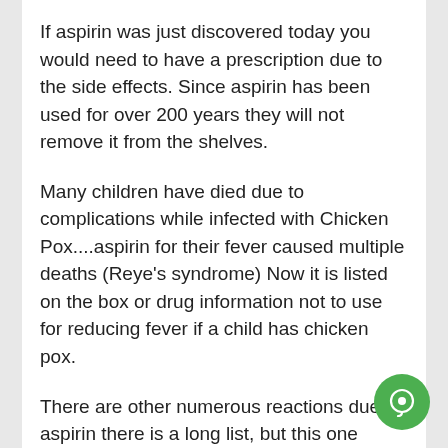If aspirin was just discovered today you would need to have a prescription due to the side effects. Since aspirin has been used for over 200 years they will not remove it from the shelves.
Many children have died due to complications while infected with Chicken Pox....aspirin for their fever caused multiple deaths (Reye's syndrome) Now it is listed on the box or drug information not to use for reducing fever if a child has chicken pox.
There are other numerous reactions due to aspirin there is a long list, but this one should raise a question of why this medication should be by prescription only: "during pregnancy may have adverse effects in the fetus. It should be